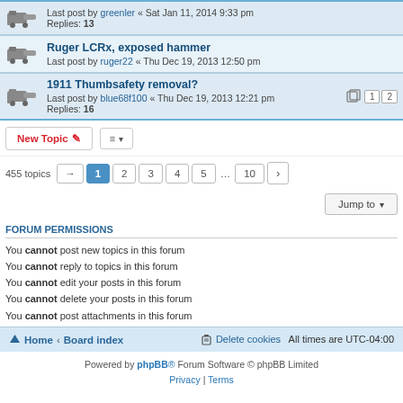Last post by greenler « Sat Jan 11, 2014 9:33 pm
Replies: 13
Ruger LCRx, exposed hammer
Last post by ruger22 « Thu Dec 19, 2013 12:50 pm
1911 Thumbsafety removal?
Last post by blue68f100 « Thu Dec 19, 2013 12:21 pm
Replies: 16
New Topic | 455 topics | 1 2 3 4 5 ... 10
Jump to
FORUM PERMISSIONS
You cannot post new topics in this forum
You cannot reply to topics in this forum
You cannot edit your posts in this forum
You cannot delete your posts in this forum
You cannot post attachments in this forum
Home · Board index | Delete cookies | All times are UTC-04:00
Powered by phpBB® Forum Software © phpBB Limited
Privacy | Terms